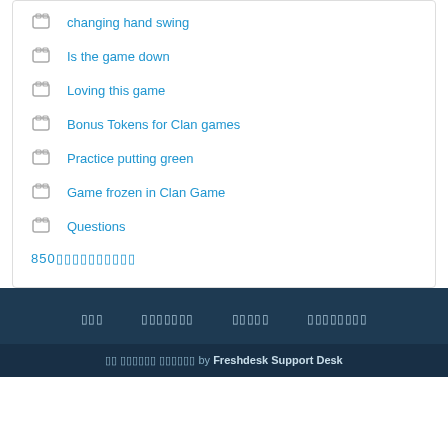changing hand swing
Is the game down
Loving this game
Bonus Tokens for Clan games
Practice putting green
Game frozen in Clan Game
Questions
850 (pagination/more link)
footer nav links (non-latin characters) | by Freshdesk Support Desk